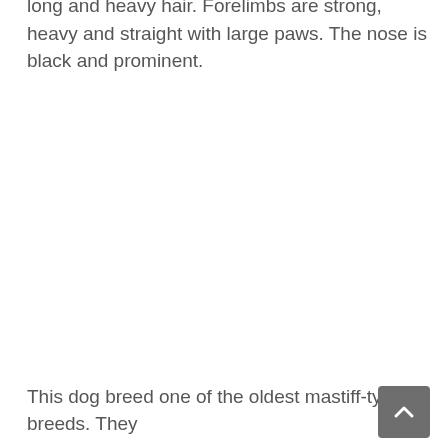long and heavy hair. Forelimbs are strong, heavy and straight with large paws. The nose is black and prominent.
This dog breed one of the oldest mastiff-typed breeds. They